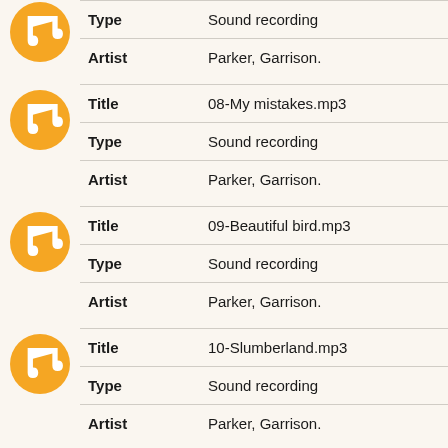Type: Sound recording | Artist: Parker, Garrison.
Title: 08-My mistakes.mp3 | Type: Sound recording | Artist: Parker, Garrison.
Title: 09-Beautiful bird.mp3 | Type: Sound recording | Artist: Parker, Garrison.
Title: 10-Slumberland.mp3 | Type: Sound recording | Artist: Parker, Garrison.